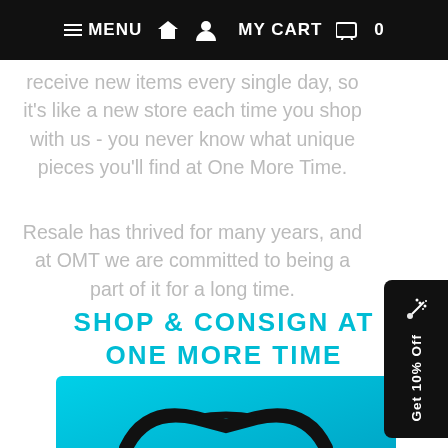≡ MENU  🏠  👤  MY CART  🛒  0
receive new items every single day, so it's like a new store each time you shop with us - you never know what unique pieces you'll find at One More Time.
Resale has thrived for many years, and at OMT we are committed to being a part of it for a long time.
[Figure (other): Black rounded rectangle badge on right edge with confetti/party popper icon and vertical text 'Get 10% Off']
SHOP & CONSIGN AT ONE MORE TIME
[Figure (photo): Partial photo on cyan/turquoise background showing what appears to be black glasses/sunglasses frame at bottom of page]